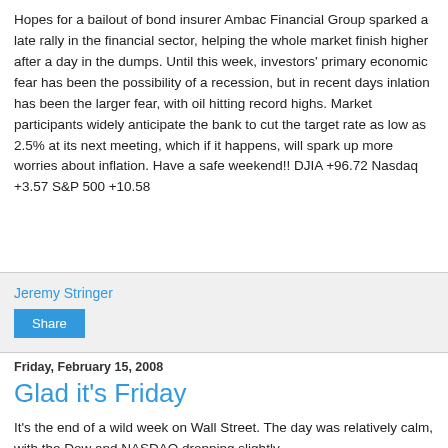Hopes for a bailout of bond insurer Ambac Financial Group sparked a late rally in the financial sector, helping the whole market finish higher after a day in the dumps. Until this week, investors' primary economic fear has been the possibility of a recession, but in recent days inlation has been the larger fear, with oil hitting record highs. Market participants widely anticipate the bank to cut the target rate as low as 2.5% at its next meeting, which if it happens, will spark up more worries about inflation. Have a safe weekend!! DJIA +96.72 Nasdaq +3.57 S&P 500 +10.58
Jeremy Stringer
Share
Friday, February 15, 2008
Glad it's Friday
It's the end of a wild week on Wall Street. The day was relatively calm, with the Dow and NASDAQ dropping slightly.